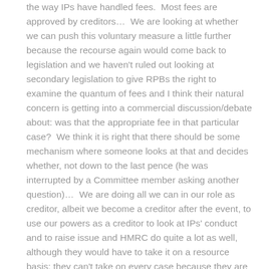the way IPs have handled fees.  Most fees are approved by creditors…  We are looking at whether we can push this voluntary measure a little further because the recourse again would come back to legislation and we haven't ruled out looking at secondary legislation to give RPBs the right to examine the quantum of fees and I think their natural concern is getting into a commercial discussion/debate about: was that the appropriate fee in that particular case?  We think it is right that there should be some mechanism where someone looks at that and decides whether, not down to the last pence (he was interrupted by a Committee member asking another question)…  We are doing all we can in our role as creditor, albeit we become a creditor after the event, to use our powers as a creditor to look at IPs' conduct and to raise issue and HMRC do quite a lot as well, although they would have to take it on a resource basis; they can't take on every case because they are a creditor in every